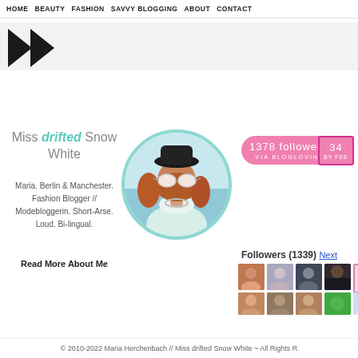HOME  BEAUTY  FASHION  SAVVY BLOGGING  ABOUT  CONTACT
[Figure (logo): Two black chevron/arrow shapes pointing right, blog logo]
Miss drifted Snow White
Maria. Berlin & Manchester. Fashion Blogger // Modebloggerin. Short-Arse. Loud. Bi-lingual.
Read More About Me
[Figure (photo): Circular profile photo of a woman with red hair, black hat, white sunglasses, light blue top, outdoors near water]
1378 followers VIA BLOGLOVIN'
34 BY FEE
Followers (1339) Next
[Figure (photo): Grid of follower avatar thumbnails - two rows of small square profile photos]
© 2010-2022 Maria Herchenbach // Miss drifted Snow White ~ All Rights R